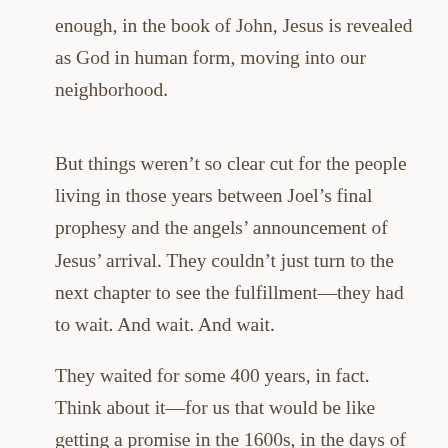enough, in the book of John, Jesus is revealed as God in human form, moving into our neighborhood.
But things weren't so clear cut for the people living in those years between Joel's final prophesy and the angels' announcement of Jesus' arrival. They couldn't just turn to the next chapter to see the fulfillment—they had to wait. And wait. And wait.
They waited for some 400 years, in fact. Think about it—for us that would be like getting a promise in the 1600s, in the days of Galileo or Shakespeare, and not seeing the results until now. With each passing generation, it must have gotten harder for the Israelites to hold on to this promise of Immanuel, harder to feel the truth of it, harder to believe it would actually happen